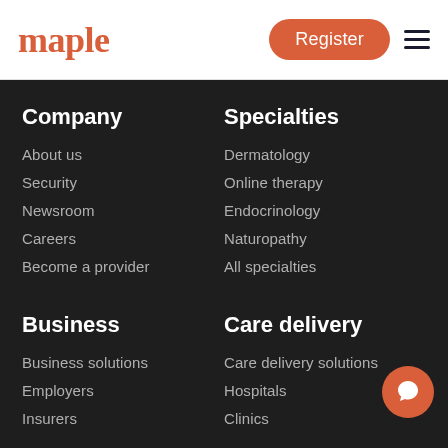maple
Register
Company
About us
Security
Newsroom
Careers
Become a provider
Specialties
Dermatology
Online therapy
Endocrinology
Naturopathy
All specialties
Business
Business solutions
Employers
Insurers
Care delivery
Care delivery solutions
Hospitals
Clinics